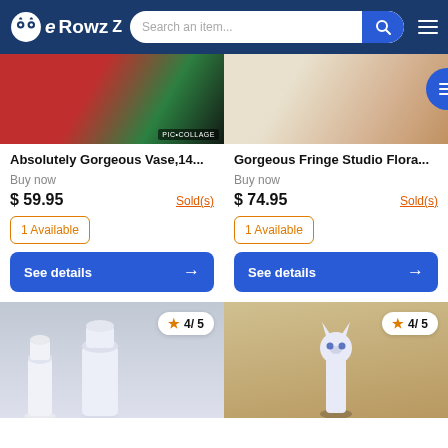eRowz — Search an item...
[Figure (screenshot): Product image of a vase with red fabric, showing PIC•COLLAGE watermark]
[Figure (screenshot): Product image of floral fringe studio artwork with floating menu button overlay]
Absolutely Gorgeous Vase,14...
Gorgeous Fringe Studio Flora...
Buy now
Buy now
$ 59.95
Sold(s)
$ 74.95
Sold(s)
1 Available
1 Available
See details →
See details →
[Figure (screenshot): Bottom product image: white milk glass vases, rating badge 4/5]
[Figure (screenshot): Bottom product image: blue and white cat figurine on wood floor, rating badge 4/5]